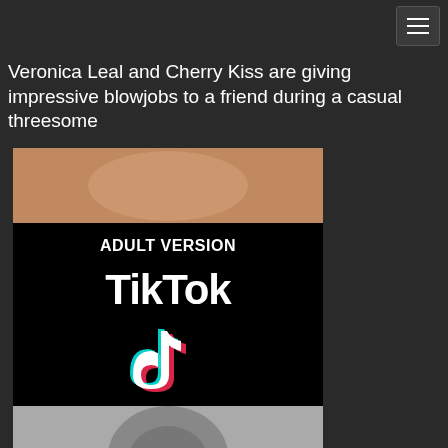[Figure (screenshot): Hamburger menu button in top right corner]
Veronica Leal and Cherry Kiss are giving impressive blowjobs to a friend during a casual threesome
[Figure (infographic): Adult content advertisement featuring partial thumbnail image, 'ADULT VERSION' label, TikTok logo with musical note icon, and 'TAP HERE' button]
[Figure (photo): Partial thumbnail image at bottom of page]